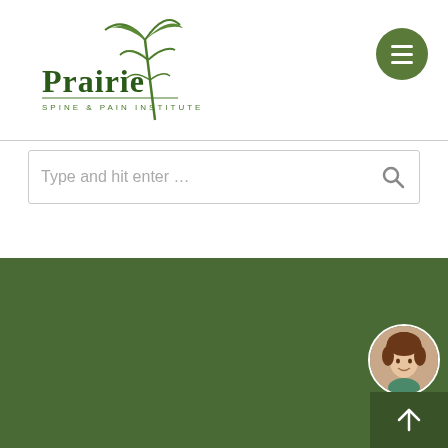[Figure (logo): Prairie Spine & Pain Institute logo with green plant graphic]
[Figure (other): Green circular hamburger menu button with three white horizontal lines]
[Figure (other): Search bar with placeholder text 'Type and hit enter ...' and search icon]
A Collaborative Effort
Your medical care is a collaborative effort between you and our treatment team. We make every effort to understand your needs and make sure you understand your diagnosis, treatment options and potential outcomes.
[Figure (photo): Small circular photo of a smiling woman with headset, chat support icon]
[Figure (other): Dark green scroll-to-top button with upward arrow]